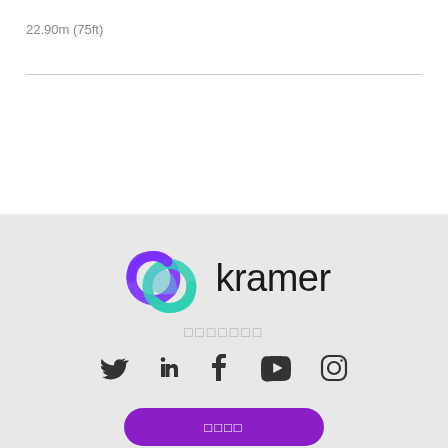22.90m (75ft)
[Figure (logo): Kramer logo with interlocking purple and teal rings beside the word 'kramer' in dark sans-serif]
□□□□□□□
[Figure (infographic): Social media icons row: Twitter, LinkedIn, Facebook, YouTube, Instagram]
□□□□